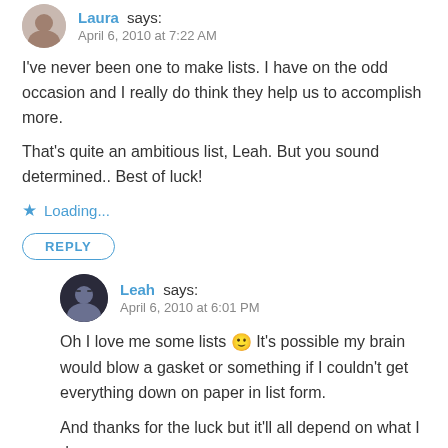Laura says: April 6, 2010 at 7:22 AM
I've never been one to make lists. I have on the odd occasion and I really do think they help us to accomplish more.
That's quite an ambitious list, Leah. But you sound determined.. Best of luck!
★ Loading...
REPLY
Leah says: April 6, 2010 at 6:01 PM
Oh I love me some lists 🙂 It's possible my brain would blow a gasket or something if I couldn't get everything down on paper in list form.
And thanks for the luck but it'll all depend on what I do